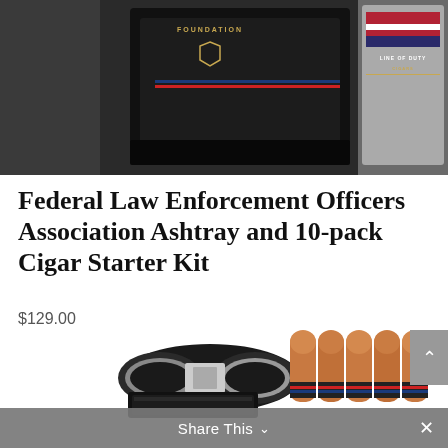[Figure (photo): Product photo showing a black ashtray with law enforcement foundation branding on the left, and a metal tin case with Line of Duty Cigars branding and American flag design on the right, photographed against a dark background.]
Federal Law Enforcement Officers Association Ashtray and 10-pack Cigar Starter Kit
$129.00
[Figure (photo): Product photo showing a black and silver cigar cutter/guillotine, a black lighter, and 10 cigars with Line of Duty branding bands arranged in two rows.]
Share This